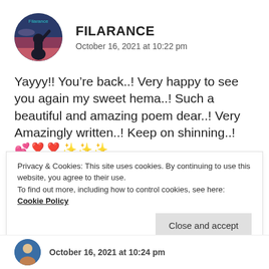[Figure (photo): Circular avatar image of user Filarance — dark silhouette of person with raised arm against blue/purple sky background, with the text 'Filarance' overlaid in teal.]
FILARANCE
October 16, 2021 at 10:22 pm
Yayyy!! You’re back..! Very happy to see you again my sweet hema..! Such a beautiful and amazing poem dear..! Very Amazingly written..! Keep on shinning..!💕❣️❣️✨✨✨
★ Liked by 1 person
Privacy & Cookies: This site uses cookies. By continuing to use this website, you agree to their use.
To find out more, including how to control cookies, see here: Cookie Policy
Close and accept
October 16, 2021 at 10:24 pm